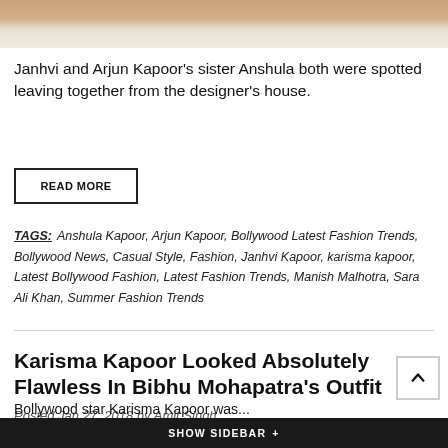[Figure (photo): Partial photo at top of page showing fashion/clothing scene]
Janhvi and Arjun Kapoor's sister Anshula both were spotted leaving together from the designer's house.
READ MORE
TAGS: Anshula Kapoor, Arjun Kapoor, Bollywood Latest Fashion Trends, Bollywood News, Casual Style, Fashion, Janhvi Kapoor, karisma kapoor, Latest Bollywood Fashion, Latest Fashion Trends, Manish Malhotra, Sara Ali Khan, Summer Fashion Trends
Karisma Kapoor Looked Absolutely Flawless In Bibhu Mohapatra's Outfit
Posted Jan 27, 2018 by Amit Singh
Bollywood star Karisma Kapoor was...
SHOW SIDEBAR +